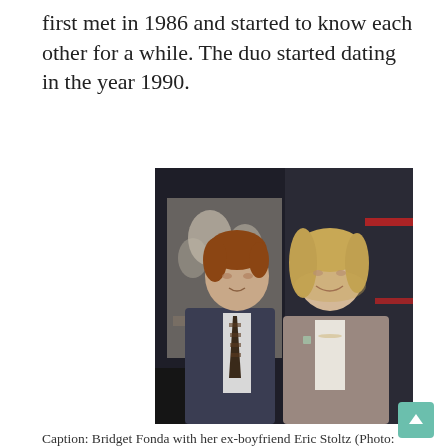first met in 1986 and started to know each other for a while. The duo started dating in the year 1990.
[Figure (photo): A man with reddish hair in a dark suit and patterned tie stands next to a young woman with blonde hair in a beige blazer, posing at what appears to be a film premiere event. A movie poster is visible in the background.]
Caption: Bridget Fonda with her ex-boyfriend Eric Stoltz (Photo: Pinterest)